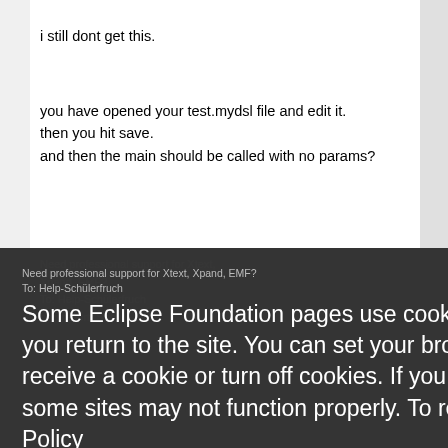i still dont get this.
you have opened your test.mydsl file and edit it.
then you hit save.
and then the main should be called with no params?
Need professional support for Xtext, Xpand, EMF?
To: Help-SchülerHub
bug report: Secure this…
Some Eclipse Foundation pages use cookies to better serve you when you return to the site. You can set your browser to notify you before you receive a cookie or turn off cookies. If you do so, however, some areas of some sites may not function properly. To read Eclipse Foundation Privacy Policy
click here.
Messages: 75
Registered: January 2012
Decline
Allow cookies
The class main has diffrent parameters independent for Xtext gr